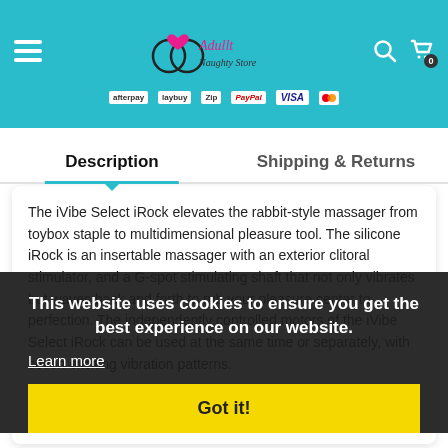Order within
[Figure (logo): Adullt Naughty Store logo with heart and circular graphic]
zip  PayPal  VISA
Description
Shipping & Returns
The iVibe Select iRock elevates the rabbit-style massager from toybox staple to multidimensional pleasure tool. The silicone iRock is an insertable massager with an exterior clitoral stimulator, and a G-spot stimulating shaft that not only vibrates but waves back and forth to rub your pleasure center to perfection. The independently controlled motors of the iVibe Select iRock can be used at the same time or separately, with seven exciting vibration patterns.
This website uses cookies to ensure you get the best experience on our website.
Learn more
Got it!
â C Tip Beckons Back and Forward in â Come Hither â Motion